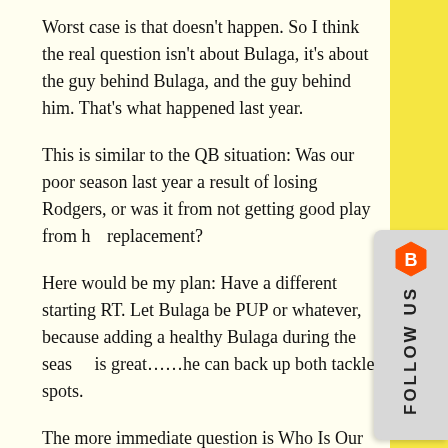Worst case is that doesn't happen. So I think the real question isn't about Bulaga, it's about the guy behind Bulaga, and the guy behind him. That's what happened last year.
This is similar to the QB situation: Was our poor season last year a result of losing Rodgers, or was it from not getting good play from his replacement?
Here would be my plan: Have a different starting RT. Let Bulaga be PUP or whatever, because adding a healthy Bulaga during the season is great……he can back up both tackle spots.
The more immediate question is Who Is Our Guy at Right Tackle? I like Bell to start the season because he's the only candidate who has actually proven he can line up at right tackle in the NFL and do the job. I like Cole Madison, too.
I've read that Spriggs is heavier and stronger and ready. I'd say if he can't beat out Bell and Madison then that's not a good sign. Murphy? I don't see him as a starting NFL tackle.
So the way I'd handicap it is that Spriggs will start and Bell will be the